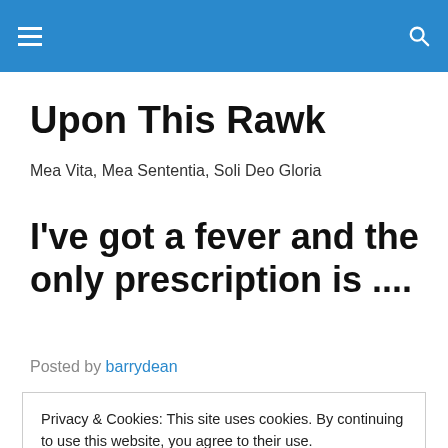Upon This Rawk — navigation header bar
Upon This Rawk
Mea Vita, Mea Sententia, Soli Deo Gloria
I've got a fever and the only prescription is ....
Posted by barrydean
Privacy & Cookies: This site uses cookies. By continuing to use this website, you agree to their use.
To find out more, including how to control cookies, see here: Cookie Policy
Close and accept